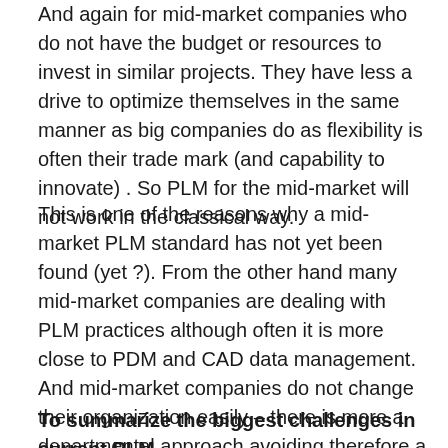And again for mid-market companies who do not have the budget or resources to invest in similar projects. They have less a drive to optimize themselves in the same manner as big companies do as flexibility is often their trade mark (and capability to innovate) . So PLM for the mid-market will not work in the classical way.
This is one of the reasons why a mid-market PLM standard has not yet been found (yet ?). From the other hand many mid-market companies are dealing with PLM practices although often it is more close to PDM and CAD data management. And mid-market companies do not change their organization easily – there is more a departmental approach avoiding therefore a change in business.
To summarize the biggest challenges in current PLM